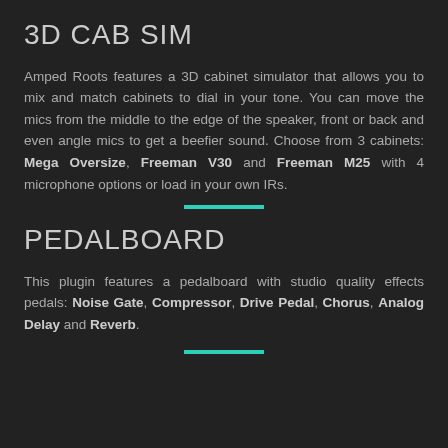3D CAB SIM
Amped Roots features a 3D cabinet simulator that allows you to mix and match cabinets to dial in your tone. You can move the mics from the middle to the edge of the speaker, front or back and even angle mics to get a beefier sound. Choose from 3 cabinets: Mega Oversize, Freeman V30 and Freeman M25 with 4 microphone options or load in your own IRs.
PEDALBOARD
This plugin features a pedalboard with studio quality effects pedals: Noise Gate, Compressor, Drive Pedal, Chorus, Analog Delay and Reverb.